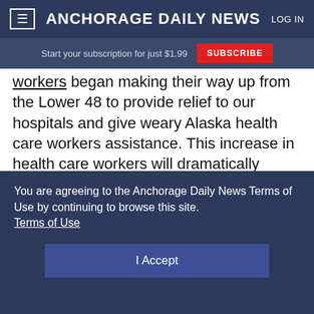≡  ANCHORAGE DAILY NEWS  LOG IN
Start your subscription for just $1.99  SUBSCRIBE
workers began making their way up from the Lower 48 to provide relief to our hospitals and give weary Alaska health care workers assistance. This increase in health care workers will dramatically assist with dealing with the current surge in our
You are agreeing to the Anchorage Daily News Terms of Use by continuing to browse this site. Terms of Use
I Accept